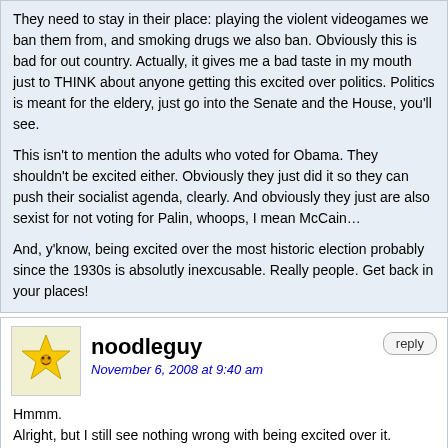They need to stay in their place: playing the violent videogames we ban them from, and smoking drugs we also ban. Obviously this is bad for out country. Actually, it gives me a bad taste in my mouth just to THINK about anyone getting this excited over politics. Politics is meant for the eldery, just go into the Senate and the House, you'll see.
This isn't to mention the adults who voted for Obama. They shouldn't be excited either. Obviously they just did it so they can push their socialist agenda, clearly. And obviously they just are also sexist for not voting for Palin, whoops, I mean McCain…
And, y'know, being excited over the most historic election probably since the 1930s is absolutly inexcusable. Really people. Get back in your places!
noodleguy
November 6, 2008 at 9:40 am
reply
Hmmm.
Alright, but I still see nothing wrong with being excited over it. Fanaticism is a problem for sure, but it is a seriously big election so I'm not too surprised that people are psyched over it. Its not really a wonder that people are excited over it. And let people have their parties if they want. Its the first African-American president. Kind of a big deal. Really. And I find millions of people in the streets celebrating to mean that people actually cared about the outcome, which is a good thing, not bad. I really can't see McCain moving anyone or anything to action.
Haven't read Goldberg's book, but have heard a lot about it. 90% sure I would not enjoy it if I read it. I've only ever seen one person wearing an Obama T-shirt, so I dunno about that. The campaign was giving them out